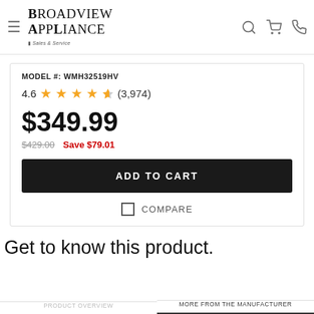Broadview Appliance Sales & Service
Model #: WMH32519HV
4.6 ★★★★☆ (3,974)
$349.99
$429.00  Save $79.01
ADD TO CART
COMPARE
Get to know this product.
PRODUCT OVERVIEW
MORE FROM THE MANUFACTURER